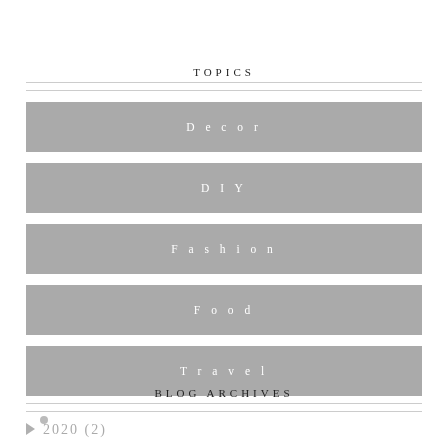TOPICS
Decor
DIY
Fashion
Food
Travel
BLOG ARCHIVES
2020 (2)